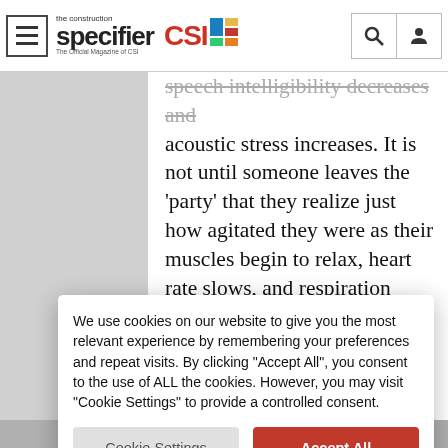The Construction Specifier | CSI
speech intelligibility decreases and acoustic stress increases. It is not until someone leaves the 'party' that they realize just how agitated they were as their muscles begin to relax, heart rate slows, and respiration deepens. Stone wool, because of its high noise-absorbing characteristics, also helps achieve the overall noise reduction goals.
Whether sound reduction is needed for
We use cookies on our website to give you the most relevant experience by remembering your preferences and repeat visits. By clicking "Accept All", you consent to the use of ALL the cookies. However, you may visit "Cookie Settings" to provide a controlled consent.